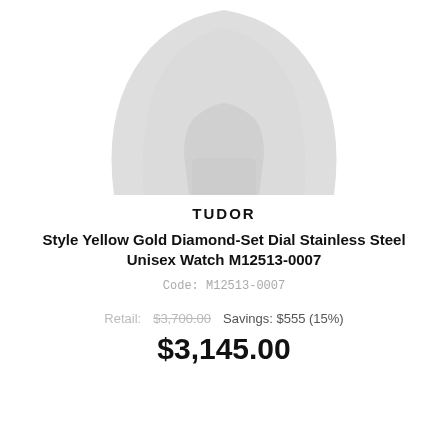[Figure (illustration): Partial top view of a watch face/crown area rendered as a light gray silhouette icon on white background]
TUDOR
Style Yellow Gold Diamond-Set Dial Stainless Steel Unisex Watch M12513-0007
Code: M12513-0007
Retail: $3,700.00   Savings: $555 (15%)
$3,145.00